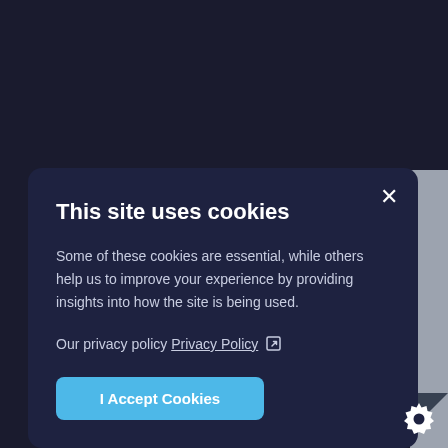[Figure (screenshot): Cookie consent modal overlay on a dark navy website background. The modal has a rounded rectangle with dark navy background (#1e2240), containing a title, body text, privacy policy link, and an Accept Cookies button. A close (×) button is in the top-right of the modal. A gear/settings icon is in the bottom-right corner of the page.]
This site uses cookies
Some of these cookies are essential, while others help us to improve your experience by providing insights into how the site is being used.
Our privacy policy Privacy Policy ↗